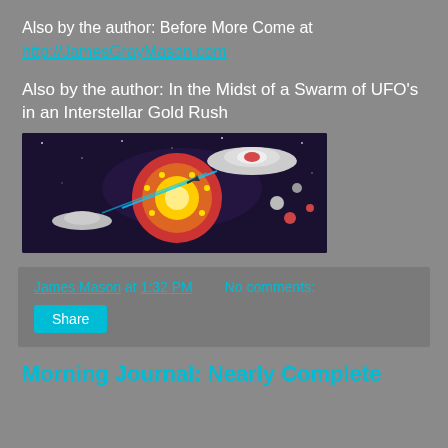Also by the author: Before More Come at http://JamesGrayMason.com
Also by the author: In the Midst of a Swarm of UFO's in an Interstellar Gold Rush
[Figure (illustration): Illustration of UFO spacecraft and a cross-section of Earth with alien ships in space]
James Mason at 1:32 PM   No comments:
Share
Morning Journal: Nearly Complete